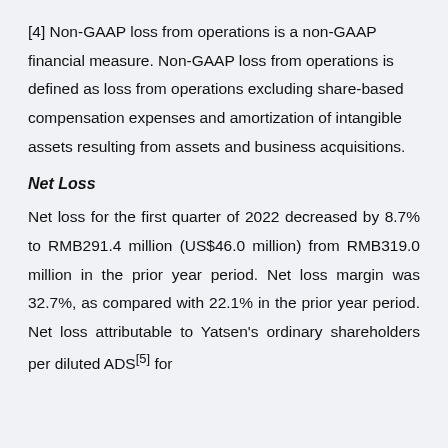[4] Non-GAAP loss from operations is a non-GAAP financial measure. Non-GAAP loss from operations is defined as loss from operations excluding share-based compensation expenses and amortization of intangible assets resulting from assets and business acquisitions.
Net Loss
Net loss for the first quarter of 2022 decreased by 8.7% to RMB291.4 million (US$46.0 million) from RMB319.0 million in the prior year period. Net loss margin was 32.7%, as compared with 22.1% in the prior year period. Net loss attributable to Yatsen's ordinary shareholders per diluted ADS[5] for